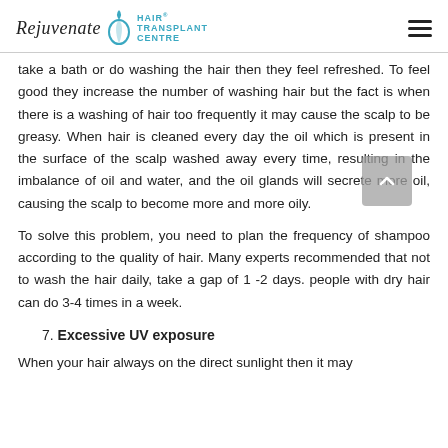Rejuvenate Hair Transplant Centre
take a bath or do washing the hair then they feel refreshed. To feel good they increase the number of washing hair but the fact is when there is a washing of hair too frequently it may cause the scalp to be greasy. When hair is cleaned every day the oil which is present in the surface of the scalp washed away every time, resulting in the imbalance of oil and water, and the oil glands will secrete more oil, causing the scalp to become more and more oily.
To solve this problem, you need to plan the frequency of shampoo according to the quality of hair. Many experts recommended that not to wash the hair daily, take a gap of 1-2 days. people with dry hair can do 3-4 times in a week.
7. Excessive UV exposure
When your hair always on the direct sunlight then it may